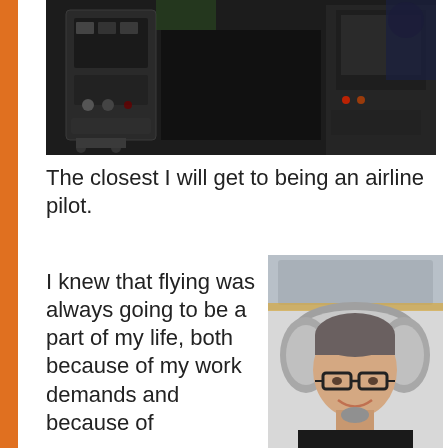[Figure (photo): Photo of airplane cockpit/flight simulator interior showing dark equipment panels and seats]
The closest I will get to being an airline pilot.
I knew that flying was always going to be a part of my life, both because of my work demands and because of
[Figure (photo): Photo of a smiling person wearing glasses and a grey neck/head travel pillow on an airplane]